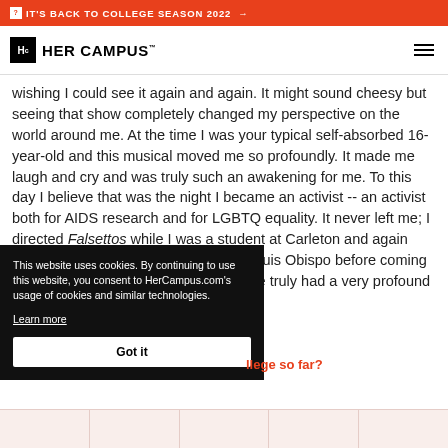IT'S BACK TO COLLEGE SEASON 2022 →
[Figure (logo): Her Campus logo with Hc icon and site name]
wishing I could see it again and again. It might sound cheesy but seeing that show completely changed my perspective on the world around me. At the time I was your typical self-absorbed 16-year-old and this musical moved me so profoundly. It made me laugh and cry and was truly such an awakening for me. To this day I believe that was the night I became an activist -- an activist both for AIDS research and for LGBTQ equality. It never left me; I directed Falsettos while I was a student at Carleton and again when I was teaching at Cal Poly, San Luis Obispo before coming to Connecticut College. The experience truly had a very [profound influence] and my eyes to what theater [can do].
This website uses cookies. By continuing to use this website, you consent to HerCampus.com's usage of cookies and similar technologies. Learn more
...llege so far?